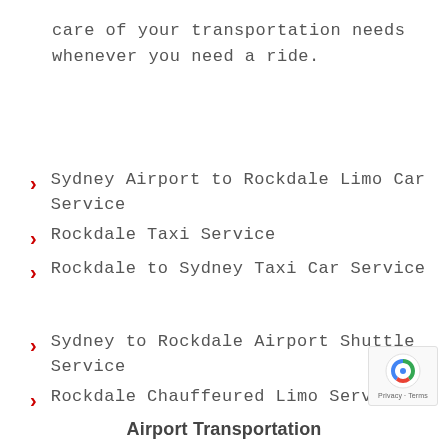care of your transportation needs whenever you need a ride.
Sydney Airport to Rockdale Limo Car Service
Rockdale Taxi Service
Rockdale to Sydney Taxi Car Service
Sydney to Rockdale Airport Shuttle Service
Rockdale Chauffeured Limo Service
Airport Transportation